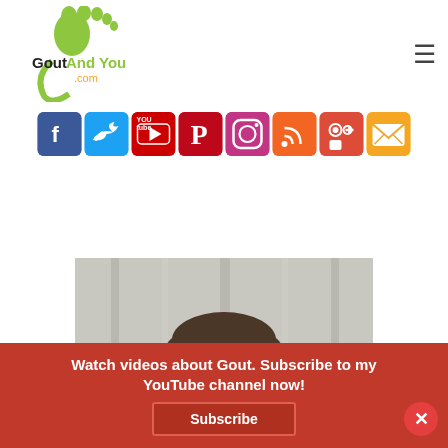[Figure (logo): GoutAndYou.com logo with green foot icon and stylized text]
[Figure (infographic): Row of social media icons: Facebook, Twitter, YouTube, Pinterest, Instagram, RSS, Google+, Email]
[Figure (photo): Portrait photo of a bearded man in a blue shirt against a white curtain background]
Watch videos about Gout. Subscribe to my YouTube channel now!
Subscribe